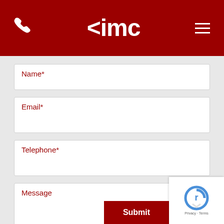[Figure (logo): IMC company logo in white on dark red header bar, with phone icon on left and hamburger menu on right]
Name*
Email*
Telephone*
Message
Submit